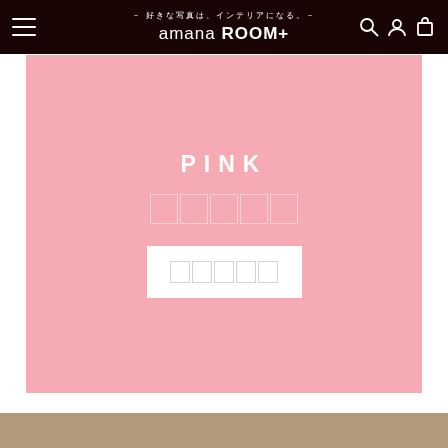amana ROOM+ - 好きな写真は、インテリアになる。
[Figure (screenshot): Pink promotional banner with PINK title text, Japanese subtitle text, and a white button with Japanese text on pink background]
[Figure (photo): Tan/beige colored section at bottom of page]